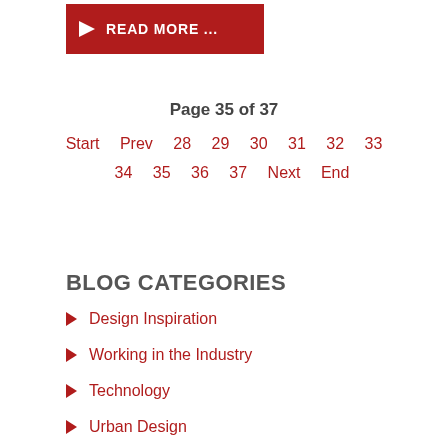[Figure (other): Red button with right-arrow icon and text READ MORE ...]
Page 35 of 37
Start  Prev  28  29  30  31  32  33  34  35  36  37  Next  End
BLOG CATEGORIES
Design Inspiration
Working in the Industry
Technology
Urban Design